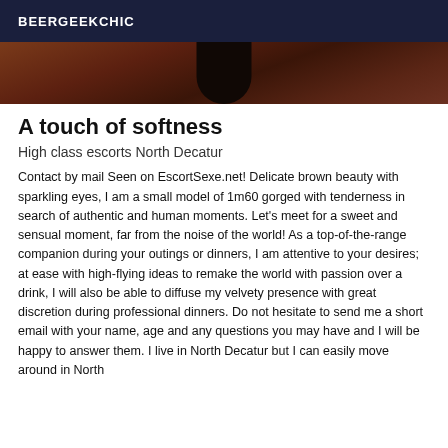BEERGEEKCHIC
[Figure (photo): Partial photo showing dark reddish-brown background, possibly a floor or surface with a dark object in center]
A touch of softness
High class escorts North Decatur
Contact by mail Seen on EscortSexe.net! Delicate brown beauty with sparkling eyes, I am a small model of 1m60 gorged with tenderness in search of authentic and human moments. Let's meet for a sweet and sensual moment, far from the noise of the world! As a top-of-the-range companion during your outings or dinners, I am attentive to your desires; at ease with high-flying ideas to remake the world with passion over a drink, I will also be able to diffuse my velvety presence with great discretion during professional dinners. Do not hesitate to send me a short email with your name, age and any questions you may have and I will be happy to answer them. I live in North Decatur but I can easily move around in North